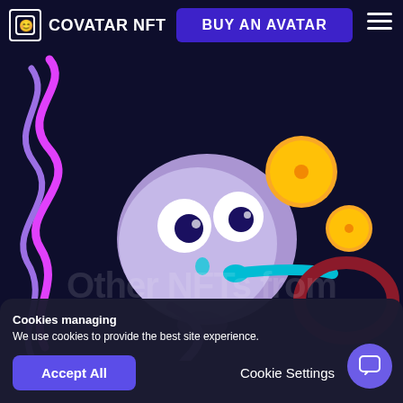COVATAR NFT | BUY AN AVATAR
[Figure (illustration): Animated NFT character — a purple blob creature with large white eyes and dark pupils, a cyan/teal tongue blowing a ring, a purple tail below, with golden coin shapes floating upper right, a dark red oval ring to the right, and a pink-purple squiggly line decoration on the left. Background is deep navy/dark purple.]
Other NFTs from
Cookies managing
We use cookies to provide the best site experience.
Accept All
Cookie Settings